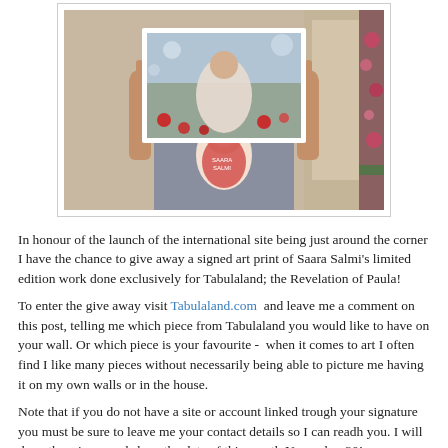[Figure (photo): Person holding up a large art print in front of their face. The print shows a woman in a white dress in a meadow with red poppies. The person holding the print is wearing a grey dress with a matryoshka doll design on the front. Background shows a room interior.]
In honour of the launch of the international site being just around the corner I have the chance to give away a signed art print of Saara Salmi's limited edition work done exclusively for Tabulaland; the Revelation of Paula!
To enter the give away visit Tabulaland.com  and leave me a comment on this post, telling me which piece from Tabulaland you would like to have on your wall. Or which piece is your favourite -  when it comes to art I often find I like many pieces without necessarily being able to picture me having it on my own walls or in the house.
Note that if you do not have a site or account linked trough your signature you must be sure to leave me your contact details so I can readh you. I will draw the winner and share the date of this month November 30!